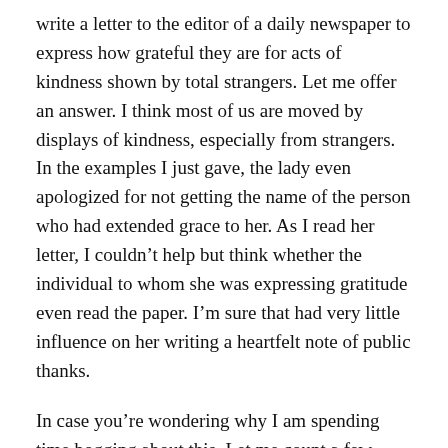write a letter to the editor of a daily newspaper to express how grateful they are for acts of kindness shown by total strangers. Let me offer an answer. I think most of us are moved by displays of kindness, especially from strangers. In the examples I just gave, the lady even apologized for not getting the name of the person who had extended grace to her. As I read her letter, I couldn't help but think whether the individual to whom she was expressing gratitude even read the paper. I'm sure that had very little influence on her writing a heartfelt note of public thanks.
In case you're wondering why I am spending time bogging about this. Let me count a few reasons: 1) There just doesn't seem to be enough displays of kindness anymore; 2) Most of us welcome a smile, the opening of a door by someone, especially someone we don't know; 3) It makes us feel good when we genuinely show kindness, as